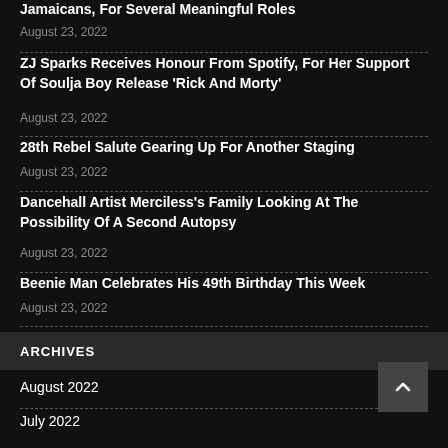Jamaicans, For Several Meaningful Roles
August 23, 2022
ZJ Sparks Receives Honour From Spotify, For Her Support Of Soulja Boy Release ‘Rick And Morty’
August 23, 2022
28th Rebel Salute Gearing Up For Another Staging
August 23, 2022
Dancehall Artist Merciless’s Family Looking At The Possibility Of A Second Autopsy
August 23, 2022
Beenie Man Celebrates His 49th Birthday This Week
August 23, 2022
ARCHIVES
August 2022
July 2022